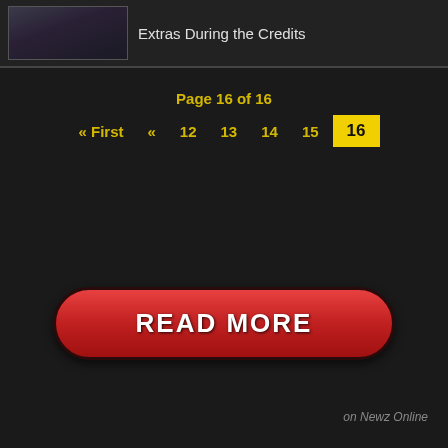[Figure (photo): Thumbnail image of movie/action scene]
Extras During the Credits
Page 16 of 16
« First  «  12  13  14  15  16
[Figure (other): READ MORE button]
on Newz Online